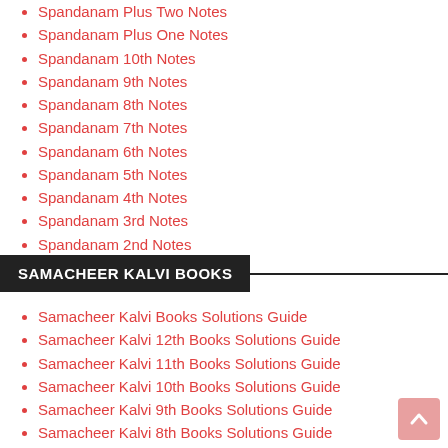Spandanam Plus Two Notes
Spandanam Plus One Notes
Spandanam 10th Notes
Spandanam 9th Notes
Spandanam 8th Notes
Spandanam 7th Notes
Spandanam 6th Notes
Spandanam 5th Notes
Spandanam 4th Notes
Spandanam 3rd Notes
Spandanam 2nd Notes
Spandanam 1st Notes
SAMACHEER KALVI BOOKS
Samacheer Kalvi Books Solutions Guide
Samacheer Kalvi 12th Books Solutions Guide
Samacheer Kalvi 11th Books Solutions Guide
Samacheer Kalvi 10th Books Solutions Guide
Samacheer Kalvi 9th Books Solutions Guide
Samacheer Kalvi 8th Books Solutions Guide
Samacheer Kalvi 7th Books Solutions Guide
Samacheer Kalvi 6th Books Solutions Guide
Samacheer Kalvi 5th Books Solutions Guide
Samacheer Kalvi 4th Books Solutions Guide
Samacheer Kalvi 3rd Books Solutions Guide